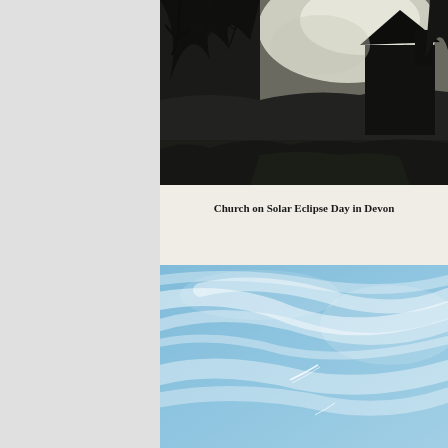[Figure (photo): Dark silhouette of a church building and bare trees against a bright overcast sky on Solar Eclipse Day in Devon]
Church on Solar Eclipse Day in Devon
[Figure (photo): Blue sky with wispy white clouds and a faint contrail visible, taken on Solar Eclipse Day in Devon]